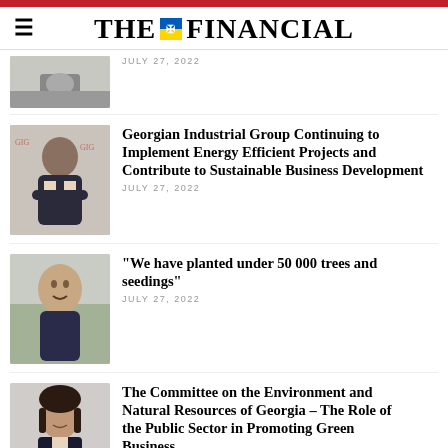THE FINANCIAL
[Figure (photo): Partial view of a person at a desk, first article thumbnail]
JULY 27, 2022
[Figure (photo): Man in suit with arms crossed, Georgian Industrial Group article thumbnail]
Georgian Industrial Group Continuing to Implement Energy Efficient Projects and Contribute to Sustainable Business Development
JULY 27, 2022
[Figure (photo): Smiling man in a dark jacket, trees article thumbnail]
“We have planted under 50 000 trees and seedings”
JULY 27, 2022
[Figure (photo): Woman with dark hair, committee article thumbnail]
The Committee on the Environment and Natural Resources of Georgia – The Role of the Public Sector in Promoting Green Business
JULY 27, 2022